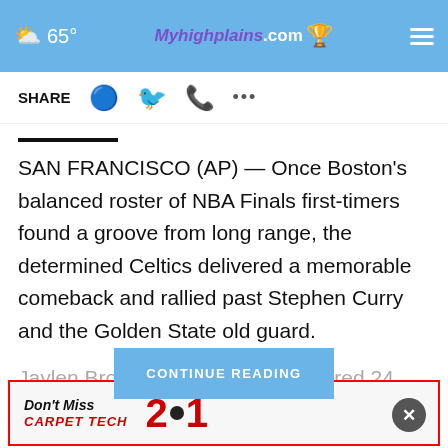☁ 65° | Myhighplains.com | ≡
SHARE
SAN FRANCISCO (AP) — Once Boston's balanced roster of NBA Finals first-timers found a groove from long range, the determined Celtics delivered a memorable comeback and rallied past Stephen Curry and the Golden State old guard.
Jaylen Brown f… scored 24 points. Al Horf… the …
[Figure (other): CONTINUE READING button overlay]
[Figure (other): Don't Miss CARPET TECH 2•1 advertisement banner]